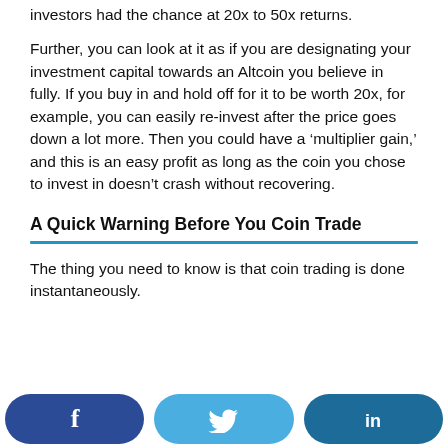investors had the chance at 20x to 50x returns.
Further, you can look at it as if you are designating your investment capital towards an Altcoin you believe in fully. If you buy in and hold off for it to be worth 20x, for example, you can easily re-invest after the price goes down a lot more. Then you could have a ‘multiplier gain,’ and this is an easy profit as long as the coin you chose to invest in doesn’t crash without recovering.
A Quick Warning Before You Coin Trade
The thing you need to know is that coin trading is done instantaneously.
[Figure (infographic): Three social media share buttons: Facebook (dark blue), Twitter (light blue), LinkedIn (medium blue)]